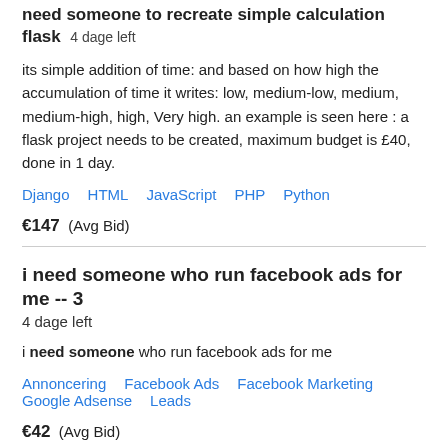need someone to recreate simple calculation flask  4 dage left
its simple addition of time: and based on how high the accumulation of time it writes: low, medium-low, medium, medium-high, high, Very high. an example is seen here : a flask project needs to be created, maximum budget is £40, done in 1 day.
Django   HTML   JavaScript   PHP   Python
€147  (Avg Bid)
i need someone who run facebook ads for me -- 3
4 dage left
i need someone who run facebook ads for me
Annoncering   Facebook Ads   Facebook Marketing   Google Adsense   Leads
€42  (Avg Bid)